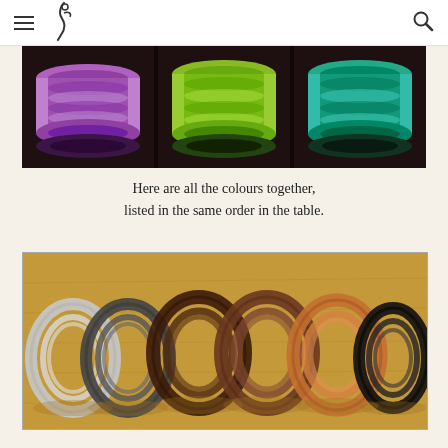Navigation header with menu and search icons
[Figure (photo): Three compartments of a dark wooden shelf containing spools of colored craft wire: left compartment shows purple/violet wire spools, center compartment shows yellow-green wire spools, right compartment shows teal/green wire spools.]
Here are all the colours together, listed in the same order in the table.
[Figure (photo): Six coils of wire laid out on a wooden surface, showing different metallic colors from left to right: silver/white, dark grey/gunmetal, dark brown, medium brown/bronze, copper/light brown, and black.]